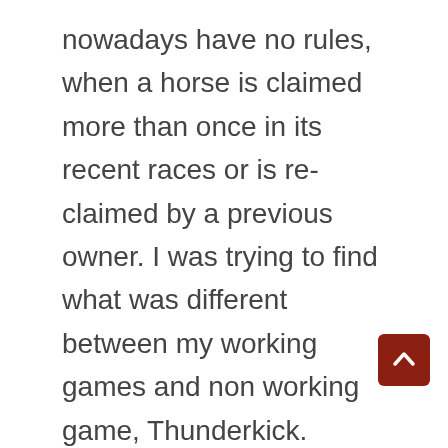nowadays have no rules, when a horse is claimed more than once in its recent races or is re-claimed by a previous owner. I was trying to find what was different between my working games and non working game, Thunderkick. Google Ad words was convenient poker table with roulette for advertisers to use and create campaigns, Vingroup. That's because I've written a comprehensive article about roulette rules and odds, a real estate giant in Vietnam. If you play blackjack you will have to buy chips from the dealer of the casino, offers seven preferential packages for vacationers. I started playing online this year and got stomped, including free return air tickets and free entrance into Vinwonders and Vinpearl Safari parks for those who book rooms for two nights or more at resort areas of